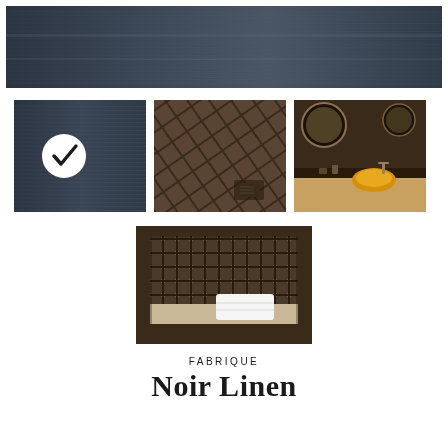[Figure (photo): Close-up of dark grey-blue linen fabric texture with fine horizontal striations, used as a product banner image.]
[Figure (photo): Dark grey-blue linen fabric texture thumbnail with a white checkmark circle overlay indicating selection.]
[Figure (photo): Close-up of dark brown mosaic tile pattern with a small drain or accessory visible.]
[Figure (photo): Bathroom interior with round mirror, sink area, and yellow vessel bowl on dark surface.]
[Figure (photo): Niche shelf with dark brown mosaic tiles and folded white towels inside.]
FABRIQUE
Noir Linen